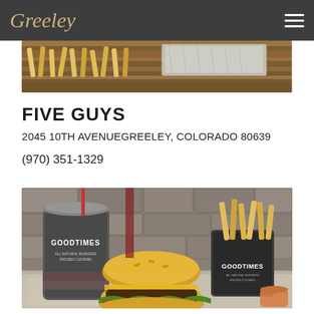Greeley
[Figure (photo): Top portion of a food photo showing fries and foil-wrapped food on a wooden table]
FIVE GUYS
2045 10TH AVENUEGREELEY, COLORADO 80639
(970) 351-1329
[Figure (photo): Good Times burger restaurant photo showing a large drink cup, fries in a cup, and a cheeseburger with lettuce, tomato and onion, against a stone wall background]